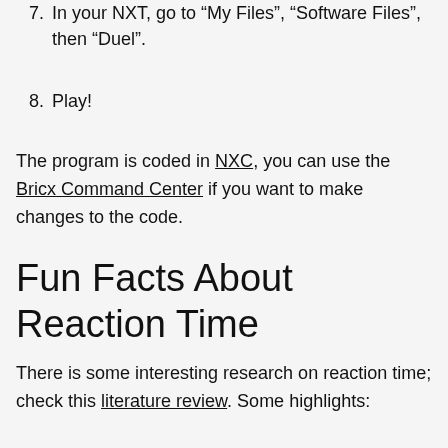7. In your NXT, go to "My Files", "Software Files", then "Duel".
8. Play!
The program is coded in NXC, you can use the Bricx Command Center if you want to make changes to the code.
Fun Facts About Reaction Time
There is some interesting research on reaction time; check this literature review. Some highlights: